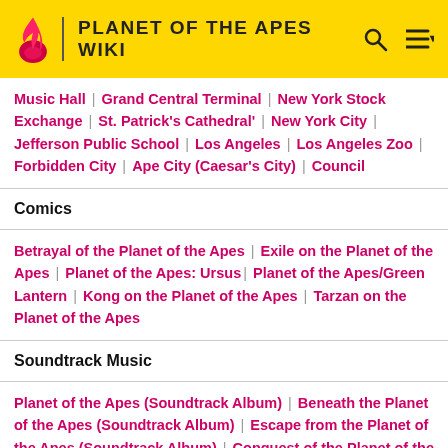PLANET OF THE APES WIKI
Music Hall | Grand Central Terminal | New York Stock Exchange | St. Patrick's Cathedral' | New York City | Jefferson Public School | Los Angeles | Los Angeles Zoo | Forbidden City | Ape City (Caesar's City) | Council
Comics
Betrayal of the Planet of the Apes | Exile on the Planet of the Apes | Planet of the Apes: Ursus | Planet of the Apes/Green Lantern | Kong on the Planet of the Apes | Tarzan on the Planet of the Apes
Soundtrack Music
Planet of the Apes (Soundtrack Album) | Beneath the Planet of the Apes (Soundtrack Album) | Escape from the Planet of the Apes (Soundtrack Album) | Conquest of the Planet of the Apes (Soundtrack Album) | Battle for the Planet of the Apes (Soundtrack Album) | Music Of The Planet Of The Apes